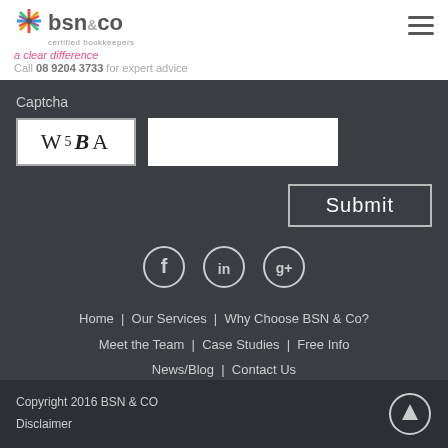[Figure (logo): BSN & CO logo with colorful star and company name, tagline 'a clear difference', phone number 08 9204 3733]
Captcha
[Figure (other): Captcha image showing W5 B A]
Submit
[Figure (other): Social media icons: Facebook, LinkedIn, Google+]
Home   Our Services   Why Choose BSN & Co?   Meet the Team   Case Studies   Free Info   News/Blog   Contact Us
Copyright 2016 BSN & CO
Disclaimer